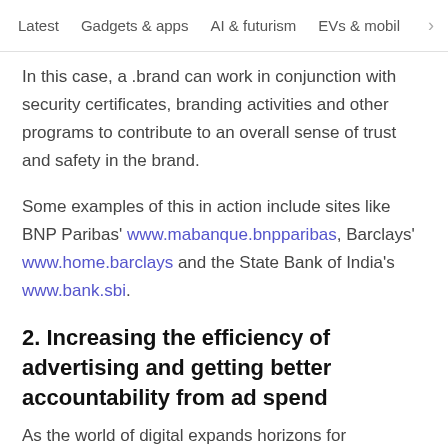Latest   Gadgets & apps   AI & futurism   EVs & mobil  >
In this case, a .brand can work in conjunction with security certificates, branding activities and other programs to contribute to an overall sense of trust and safety in the brand.
Some examples of this in action include sites like BNP Paribas' www.mabanque.bnpparibas , Barclays' www.home.barclays and the State Bank of India's www.bank.sbi .
2. Increasing the efficiency of advertising and getting better accountability from ad spend
As the world of digital expands horizons for marketers, it has also increased the challenges in